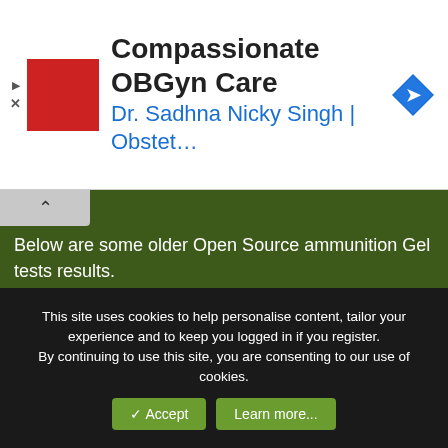[Figure (other): Advertisement banner for Compassionate OBGyn Care - Dr. Sadhna Nicky Singh | Obstet... with red square logo and navigation icon]
Below are some older Open Source ammunition Gel tests results.
[Figure (illustration): Military Assault Rifle Wound Profiles diagram showing multiple wound channel profiles on teal/cyan background]
This site uses cookies to help personalise content, tailor your experience and to keep you logged in if you register.
By continuing to use this site, you are consenting to our use of cookies.